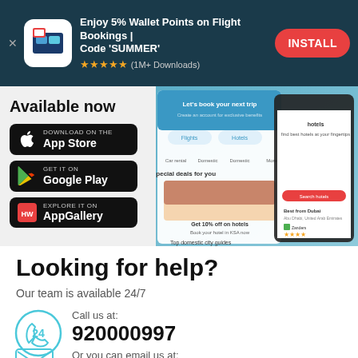[Figure (screenshot): App install banner for a travel booking app. Dark teal background. App icon on left. Text: 'Enjoy 5% Wallet Points on Flight Bookings | Code SUMMER'. 5 stars, (1M+ Downloads). Red INSTALL button on right.]
Available now
[Figure (screenshot): Three app store download buttons: Download on the App Store, GET IT ON Google Play, EXPLORE IT ON AppGallery. On right side, phone screenshots of the travel booking app.]
Looking for help?
Our team is available 24/7
Call us at:
920000997
Or you can email us at: